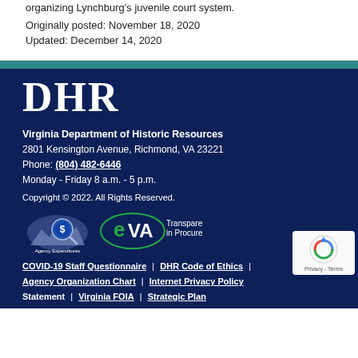organizing Lynchburg's juvenile court system.
Originally posted: November 18, 2020
Updated: December 14, 2020
[Figure (logo): DHR - Virginia Department of Historic Resources logo text in white serif font on dark navy background]
Virginia Department of Historic Resources
2801 Kensington Avenue, Richmond, VA 23221
Phone: (804) 482-6446
Monday - Friday 8 a.m. - 5 p.m.
Copyright © 2022. All Rights Reserved.
[Figure (logo): Agency Expenditures badge with dollar sign magnifying glass over Virginia state outline, and eVA Transparency in Procurement logo]
COVID-19 Staff Questionnaire | DHR Code of Ethics | Agency Organization Chart | Internet Privacy Policy Statement | Virginia FOIA | Strategic Plan